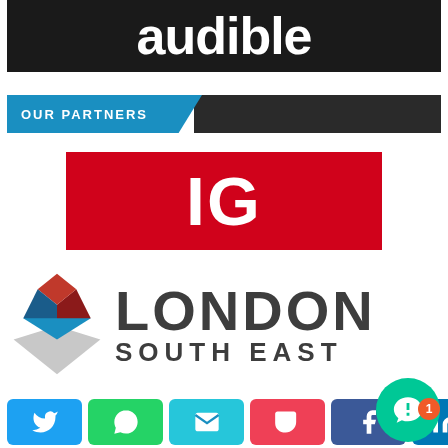[Figure (logo): Audible logo — white bold text 'audible' on dark/black background]
[Figure (logo): Our Partners banner — blue panel with 'OUR PARTNERS' text clipped diagonally into dark panel]
[Figure (logo): IG logo — white bold text 'IG' on red background]
[Figure (logo): London South East logo — diamond shape with red, dark red, blue and grey layers beside bold text 'LONDON SOUTH EAST']
[Figure (infographic): Social share buttons row: Twitter (blue), WhatsApp (green), Email (teal), Pocket (red), Facebook (dark blue), LinkedIn (blue); plus green chat bubble widget with notification badge '1' in orange]